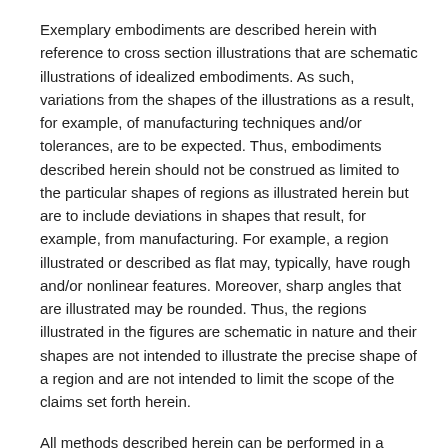Exemplary embodiments are described herein with reference to cross section illustrations that are schematic illustrations of idealized embodiments. As such, variations from the shapes of the illustrations as a result, for example, of manufacturing techniques and/or tolerances, are to be expected. Thus, embodiments described herein should not be construed as limited to the particular shapes of regions as illustrated herein but are to include deviations in shapes that result, for example, from manufacturing. For example, a region illustrated or described as flat may, typically, have rough and/or nonlinear features. Moreover, sharp angles that are illustrated may be rounded. Thus, the regions illustrated in the figures are schematic in nature and their shapes are not intended to illustrate the precise shape of a region and are not intended to limit the scope of the claims set forth herein.
All methods described herein can be performed in a suitable order unless otherwise indicated herein or otherwise clearly contradicted by context. The use of any and all examples, or exemplary language (e.g., "such as"), is intended merely to better illustrate the invention and